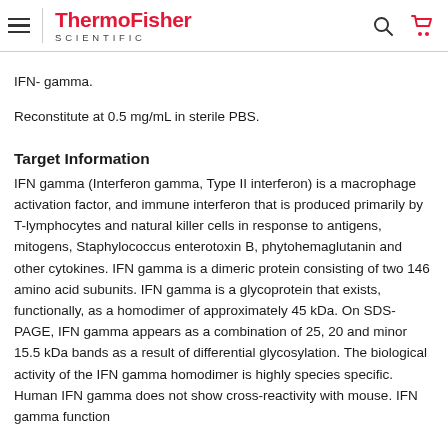ThermoFisher SCIENTIFIC
IFN- gamma.
Reconstitute at 0.5 mg/mL in sterile PBS.
Target Information
IFN gamma (Interferon gamma, Type II interferon) is a macrophage activation factor, and immune interferon that is produced primarily by T-lymphocytes and natural killer cells in response to antigens, mitogens, Staphylococcus enterotoxin B, phytohemaglutanin and other cytokines. IFN gamma is a dimeric protein consisting of two 146 amino acid subunits. IFN gamma is a glycoprotein that exists, functionally, as a homodimer of approximately 45 kDa. On SDS-PAGE, IFN gamma appears as a combination of 25, 20 and minor 15.5 kDa bands as a result of differential glycosylation. The biological activity of the IFN gamma homodimer is highly species specific. Human IFN gamma does not show cross-reactivity with mouse. IFN gamma function